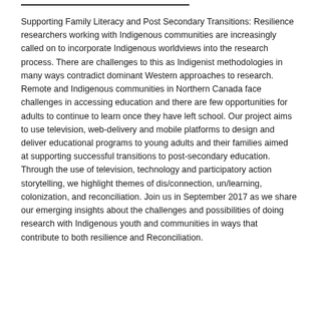Supporting Family Literacy and Post Secondary Transitions: Resilience researchers working with Indigenous communities are increasingly called on to incorporate Indigenous worldviews into the research process. There are challenges to this as Indigenist methodologies in many ways contradict dominant Western approaches to research. Remote and Indigenous communities in Northern Canada face challenges in accessing education and there are few opportunities for adults to continue to learn once they have left school. Our project aims to use television, web-delivery and mobile platforms to design and deliver educational programs to young adults and their families aimed at supporting successful transitions to post-secondary education. Through the use of television, technology and participatory action storytelling, we highlight themes of dis/connection, un/learning, colonization, and reconciliation. Join us in September 2017 as we share our emerging insights about the challenges and possibilities of doing research with Indigenous youth and communities in ways that contribute to both resilience and Reconciliation.